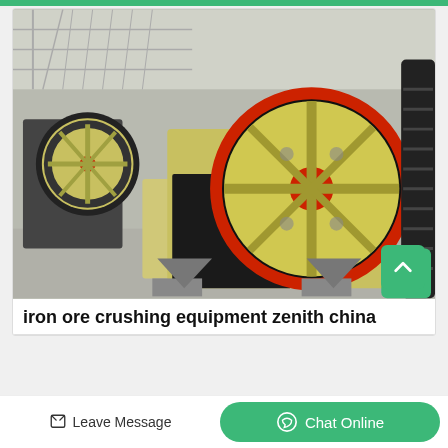[Figure (photo): Industrial jaw crusher machines in a factory setting, with large flywheel pulleys in cream/yellow and black colors with red accents, multiple units visible on a concrete floor]
iron ore crushing equipment zenith china
Leave Message
Chat Online